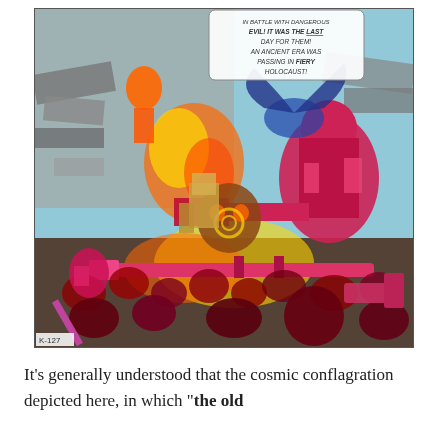[Figure (illustration): A colorful comic book panel depicting a chaotic battle scene with superhero and villain figures fighting amid fire, rubble, and destruction. A speech bubble at top reads: 'IN BATTLE WITH DANGEROUS EVIL! IT WAS THE LAST DAY FOR THEM! AN ANCIENT ERA WAS PASSING IN FIERY HOLOCAUST!' Characters include a large pink-armored figure on the right, robotic and humanoid warriors, a winged creature, and a crowd of fighters below. The bottom left corner has the code 'K-127'.]
It's generally understood that the cosmic conflagration depicted here, in which "the old